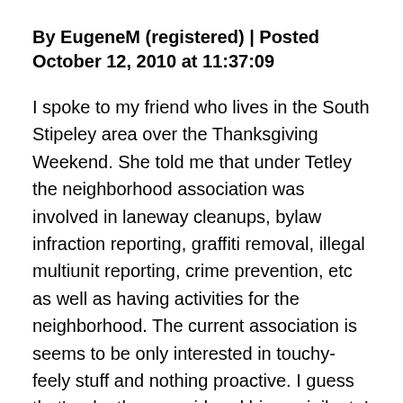By EugeneM (registered) | Posted October 12, 2010 at 11:37:09
I spoke to my friend who lives in the South Stipeley area over the Thanksgiving Weekend. She told me that under Tetley the neighborhood association was involved in laneway cleanups, bylaw infraction reporting, graffiti removal, illegal multiunit reporting, crime prevention, etc as well as having activities for the neighborhood. The current association is seems to be only interested in touchy-feely stuff and nothing proactive. I guess that's why they considered him a vigilante!